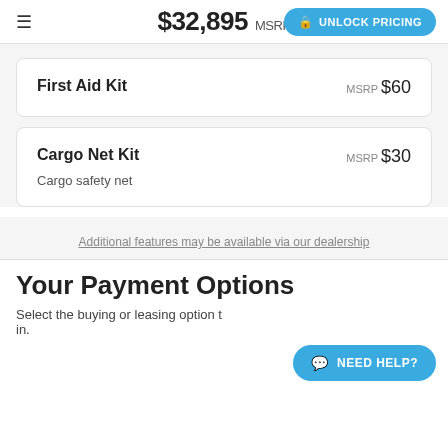$32,895 MSRP UNLOCK PRICING
First Aid Kit MSRP $60
Cargo Net Kit MSRP $30
Cargo safety net
Additional features may be available via our dealership
Your Payment Options
Select the buying or leasing option t… in.